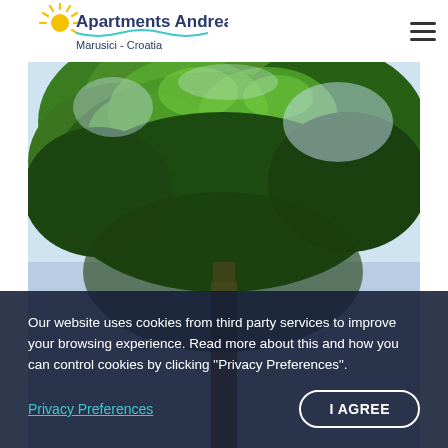[Figure (logo): Apartments Andrea logo with sun rays, seagull, and wave, text reads 'Apartments Andrea Marusici - Croatia']
[Figure (photo): Looking-up photo of a large green tree against a light blue sky, dense canopy filling the frame]
Our website uses cookies from third party services to improve your browsing experience. Read more about this and how you can control cookies by clicking "Privacy Preferences".
Privacy Preferences
I AGREE